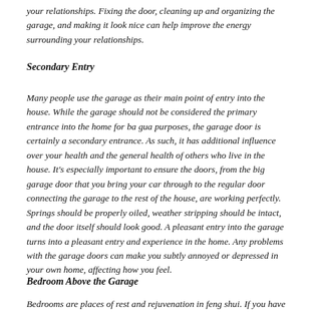your relationships. Fixing the door, cleaning up and organizing the garage, and making it look nice can help improve the energy surrounding your relationships.
Secondary Entry
Many people use the garage as their main point of entry into the house. While the garage should not be considered the primary entrance into the home for ba gua purposes, the garage door is certainly a secondary entrance. As such, it has additional influence over your health and the general health of others who live in the house. It's especially important to ensure the doors, from the big garage door that you bring your car through to the regular door connecting the garage to the rest of the house, are working perfectly. Springs should be properly oiled, weather stripping should be intact, and the door itself should look good. A pleasant entry into the garage turns into a pleasant entry and experience in the home. Any problems with the garage doors can make you subtly annoyed or depressed in your own home, affecting how you feel.
Bedroom Above the Garage
Bedrooms are places of rest and rejuvenation in feng shui. If you have a bedroom above the